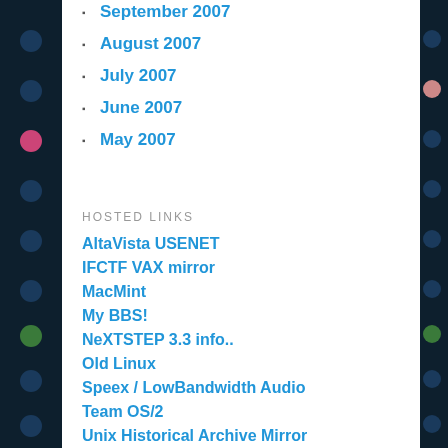September 2007
August 2007
July 2007
June 2007
May 2007
HOSTED LINKS
AltaVista USENET
IFCTF VAX mirror
MacMint
My BBS!
NeXTSTEP 3.3 info..
Old Linux
Speex / LowBandwidth Audio
Team OS/2
Unix Historical Archive Mirror
Unix Source Code Archive
Utzoo Mirror
What is my IP address?
Windows NT 3.1